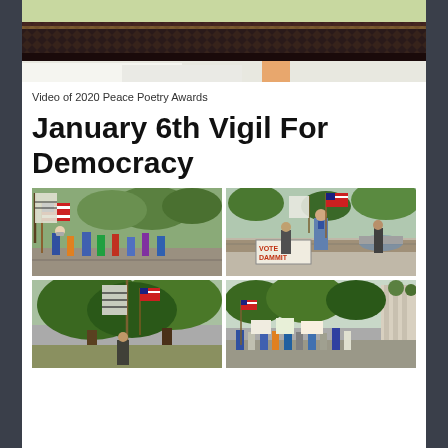[Figure (photo): Close-up of a dark wooden picture frame rail or award plaque top edge against a green/white background]
Video of 2020 Peace Poetry Awards
January 6th Vigil For Democracy
[Figure (photo): Crowd at outdoor vigil holding American flags and signs, trees in background]
[Figure (photo): Man holding American flag at outdoor vigil near fountain, sign reading VOTE DAMMIT visible]
[Figure (photo): Trees with flags at outdoor vigil]
[Figure (photo): Wide view of outdoor vigil with trees and crowd holding signs]